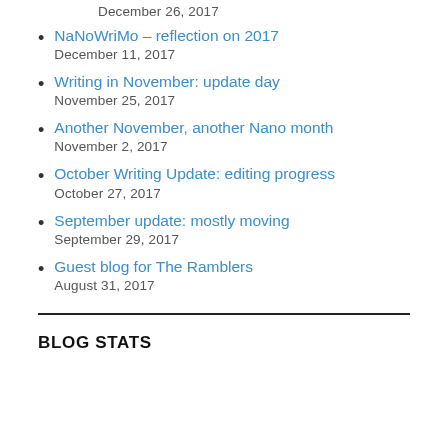December 26, 2017
NaNoWriMo – reflection on 2017
December 11, 2017
Writing in November: update day
November 25, 2017
Another November, another Nano month
November 2, 2017
October Writing Update: editing progress
October 27, 2017
September update: mostly moving
September 29, 2017
Guest blog for The Ramblers
August 31, 2017
BLOG STATS